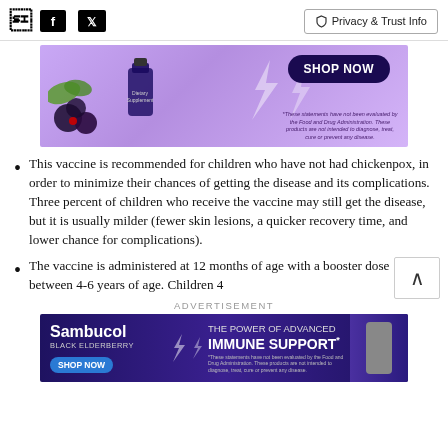[Figure (screenshot): Page header with Facebook and Twitter social icons on the left and Privacy & Trust Info button on the right]
[Figure (photo): Advertisement banner with purple background showing Sambucol black elderberry supplement bottle, berries, lightning bolt, SHOP NOW button, and FDA disclaimer text]
This vaccine is recommended for children who have not had chickenpox, in order to minimize their chances of getting the disease and its complications. Three percent of children who receive the vaccine may still get the disease, but it is usually milder (fewer skin lesions, a quicker recovery time, and lower chance for complications).
The vaccine is administered at 12 months of age with a booster dose between 4-6 years of age. Children 4
ADVERTISEMENT
[Figure (photo): Sambucol Black Elderberry advertisement banner with dark purple background, SHOP NOW button, THE POWER OF ADVANCED IMMUNE SUPPORT text, and bottle image]